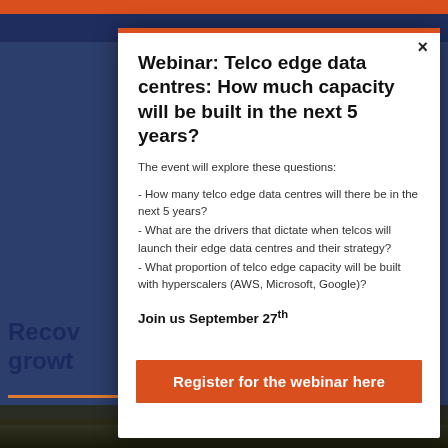[Figure (screenshot): Background showing a website with dark blue navigation bar, orange accent bar, and partially visible headline text 'Recov... growt...' with forest photo below]
Webinar: Telco edge data centres: How much capacity will be built in the next 5 years?
The event will explore these questions:
- How many telco edge data centres will there be in the next 5 years?
- What are the drivers that dictate when telcos will launch their edge data centres and their strategy?
- What proportion of telco edge capacity will be built with hyperscalers (AWS, Microsoft, Google)?
Join us September 27th
Register for the webinar here